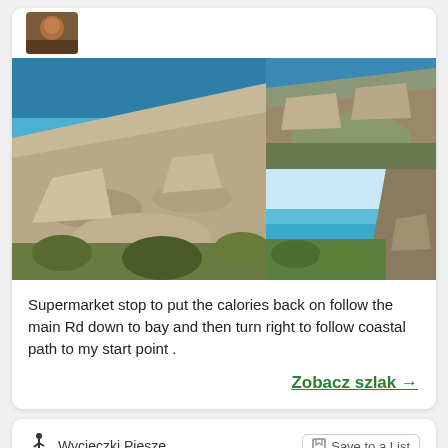[Figure (photo): Top-left: small profile photo thumbnail]
[Figure (photo): Large coastal rocky path photo on left, two smaller coastal photos stacked on right]
Supermarket stop to put the calories back on follow the main Rd down to bay and then turn right to follow coastal path to my start point .
Zobacz szlak →
Wycieczki Piesze
Save to a List
Wied Qirda
w pobliżu Tal-Ħlas, Ħaż-Żebbuġ (Malta)
Długość śladu	Suma +	TrailRank